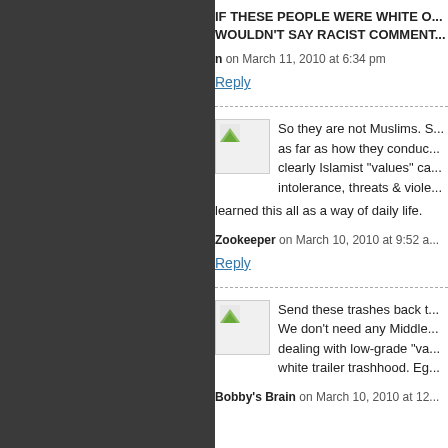IF THESE PEOPLE WERE WHITE O... WOULDN'T SAY RACIST COMMENT...
n on March 11, 2010 at 6:34 pm
Reply
So they are not Muslims. S... as far as how they conduc... clearly Islamist "values" ca... intolerance, threats & viole... learned this all as a way of daily life.
Zookeeper on March 10, 2010 at 9:52 a...
Reply
Send these trashes back t... We don't need any Middle... dealing with low-grade "va... white trailer trashhood. Eg...
Bobby's Brain on March 10, 2010 at 12...